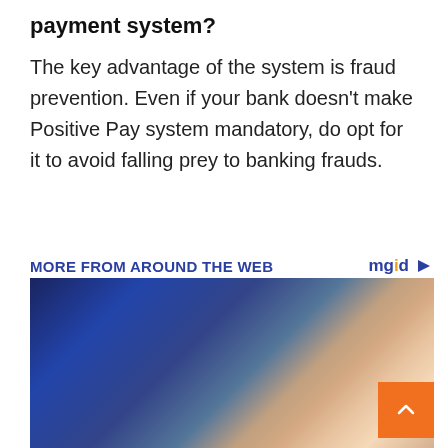payment system?
The key advantage of the system is fraud prevention. Even if your bank doesn't make Positive Pay system mandatory, do opt for it to avoid falling prey to banking frauds.
MORE FROM AROUND THE WEB
[Figure (photo): Young woman with red and black headphones sitting in a gaming chair, close-up portrait with blue background]